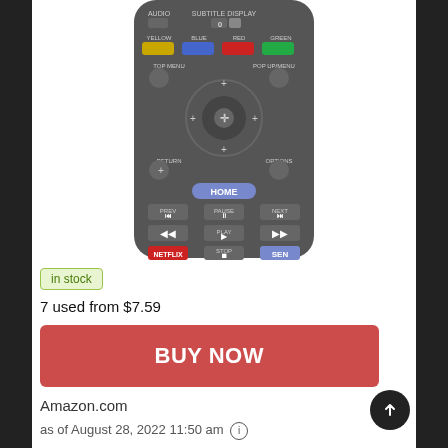[Figure (photo): Sony Blu-ray remote control (model RMT-B119A) showing buttons including AUDIO, SUBTITLE, DISPLAY, YELLOW, BLUE, RED, GREEN, TOP MENU, POP UP/MENU, navigation d-pad, RETURN, OPTIONS, HOME, PREV, PAUSE, NEXT, rewind, PLAY, fast-forward, NETFLIX, STOP, SEN, SONY branding, BD label]
in stock
7 used from $7.59
BUY NOW
Amazon.com
as of August 28, 2022 11:50 am ⓘ